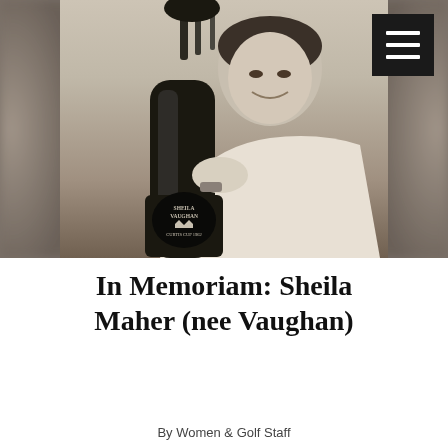[Figure (photo): Black and white photograph of a smiling woman (Sheila Vaughan) holding a golf bag. A badge on the golf bag reads 'SHEILA VAUGHAN CURTIS CUP 1962'. A hamburger menu icon appears in the upper right corner over a dark square background.]
In Memoriam: Sheila Maher (nee Vaughan)
By Women & Golf Staff